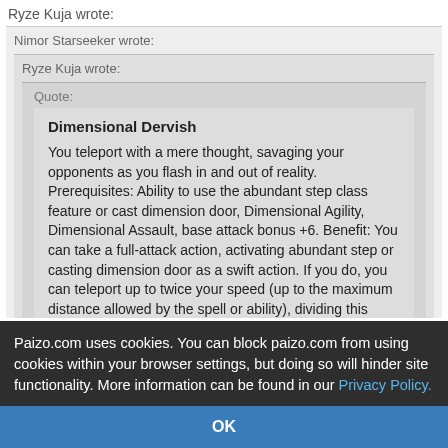Ryze Kuja wrote:
Nimor Starseeker wrote:
Ryze Kuja wrote:
Quote:
Dimensional Dervish

You teleport with a mere thought, savaging your opponents as you flash in and out of reality. Prerequisites: Ability to use the abundant step class feature or cast dimension door, Dimensional Agility, Dimensional Assault, base attack bonus +6. Benefit: You can take a full-attack action, activating abundant step or casting dimension door as a swift action. If you do, you can teleport up to twice your speed (up to the maximum distance allowed by the spell or ability), dividing this teleportation into increments you use before
Paizo.com uses cookies. You can block paizo.com from using cookies within your browser settings, but doing so will hinder site functionality. More information can be found in our Privacy Policy.
OK